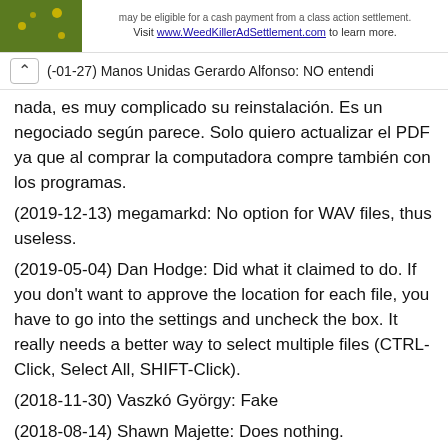may be eligible for a cash payment from a class action settlement. Visit www.WeedKillerAdSettlement.com to learn more.
(-01-27) Manos Unidas Gerardo Alfonso: NO entendi nada, es muy complicado su reinstalación. Es un negociado según parece. Solo quiero actualizar el PDF ya que al comprar la computadora compre también con los programas.
(2019-12-13) megamarkd: No option for WAV files, thus useless.
(2019-05-04) Dan Hodge: Did what it claimed to do. If you don't want to approve the location for each file, you have to go into the settings and uncheck the box. It really needs a better way to select multiple files (CTRL-Click, Select All, SHIFT-Click).
(2018-11-30) Vaszkó György: Fake
(2018-08-14) Shawn Majette: Does nothing.
(2018-07-25) Narinee Datretsamee: □□□□□